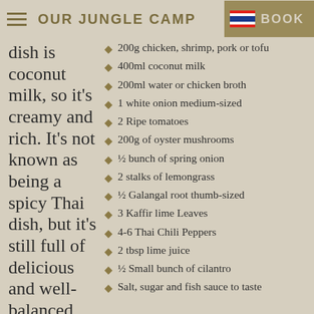OUR JUNGLE CAMP | BOOK
dish is coconut milk, so it's creamy and rich. It's not known as being a spicy Thai dish, but it's still full of delicious and well-balanced
200g chicken, shrimp, pork or tofu
400ml coconut milk
200ml water or chicken broth
1 white onion medium-sized
2 Ripe tomatoes
200g of oyster mushrooms
½ bunch of spring onion
2 stalks of lemongrass
½ Galangal root thumb-sized
3 Kaffir lime Leaves
4-6 Thai Chili Peppers
2 tbsp lime juice
½ Small bunch of cilantro
Salt, sugar and fish sauce to taste